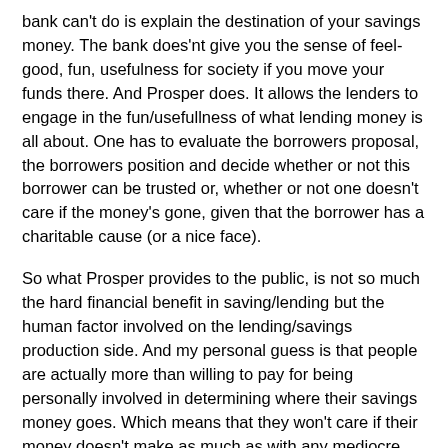bank can't do is explain the destination of your savings money. The bank does'nt give you the sense of feel-good, fun, usefulness for society if you move your funds there. And Prosper does. It allows the lenders to engage in the fun/usefullness of what lending money is all about. One has to evaluate the borrowers proposal, the borrowers position and decide whether or not this borrower can be trusted or, whether or not one doesn't care if the money's gone, given that the borrower has a charitable cause (or a nice face).
So what Prosper provides to the public, is not so much the hard financial benefit in saving/lending but the human factor involved on the lending/savings production side. And my personal guess is that people are actually more than willing to pay for being personally involved in determining where their savings money goes. Which means that they won't care if their money doesn't make as much as with any mediocre bank. So that's the real reason why Prosper will be a succes. The consumer wishes to pay (or suffer financial loss) to be a producer him/herself.
Now, let's take the crystal ball to look some 10 or 20 years